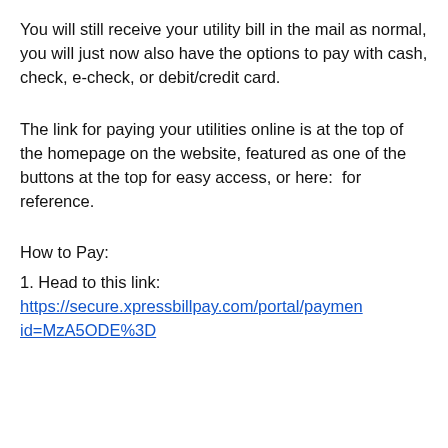You will still receive your utility bill in the mail as normal, you will just now also have the options to pay with cash, check, e-check, or debit/credit card.
The link for paying your utilities online is at the top of the homepage on the website, featured as one of the buttons at the top for easy access, or here:  for reference.
How to Pay:
1. Head to this link: https://secure.xpressbillpay.com/portal/payment?id=MzA5ODE%3D